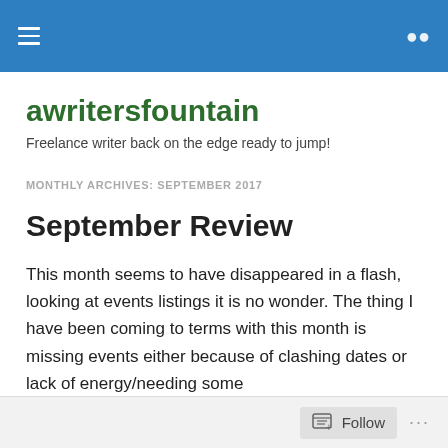[hamburger menu icon] [search icon]
awritersfountain
Freelance writer back on the edge ready to jump!
MONTHLY ARCHIVES: SEPTEMBER 2017
September Review
This month seems to have disappeared in a flash, looking at events listings it is no wonder. The thing I have been coming to terms with this month is missing events either because of clashing dates or lack of energy/needing some
Follow ...